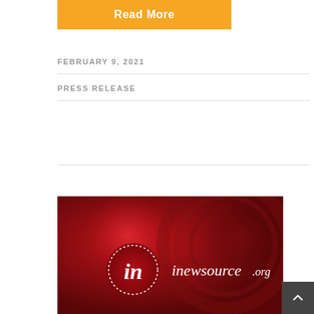Read More
FEBRUARY 9, 2021
PRESS RELEASE
[Figure (photo): inewsource.org logo on a dark red background with bokeh circles. A white cursive 'in' letter inside a red circle with dotted white border, followed by the text 'inewsource.org' in white italic.]